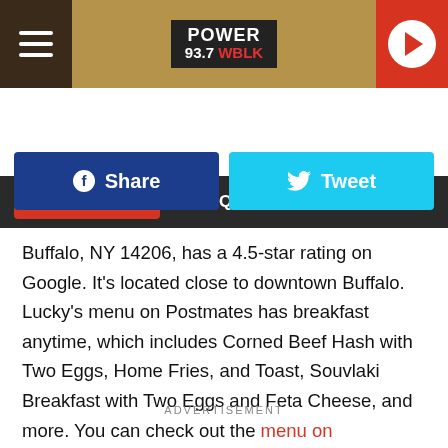POWER 93.7 WBLK
LISTEN NOW ▶  THE QUIET STORM
[Figure (other): Facebook Share button and Twitter Tweet button]
Buffalo, NY 14206, has a 4.5-star rating on Google. It's located close to downtown Buffalo. Lucky's menu on Postmates has breakfast anytime, which includes Corned Beef Hash with Two Eggs, Home Fries, and Toast, Souvlaki Breakfast with Two Eggs and Feta Cheese, and more. You can check out the menu on Postmates.
ADVERTISEMENT